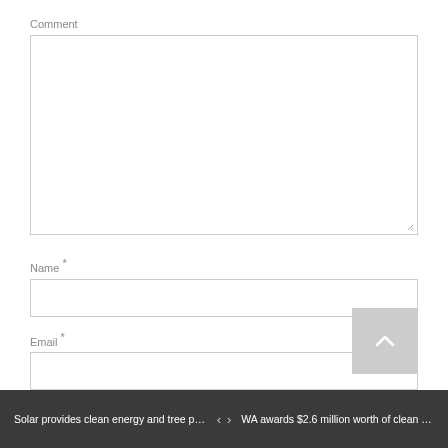Comment
[Figure (screenshot): Empty comment textarea input box with resize handle at bottom right]
Name *
[Figure (screenshot): Empty name text input field]
Email *
[Figure (screenshot): Empty email text input field]
Website
[Figure (screenshot): Scroll-to-top button with upward chevron arrow on gray background]
Solar provides clean energy and tree prot… < > WA awards $2.6 million worth of clean e…